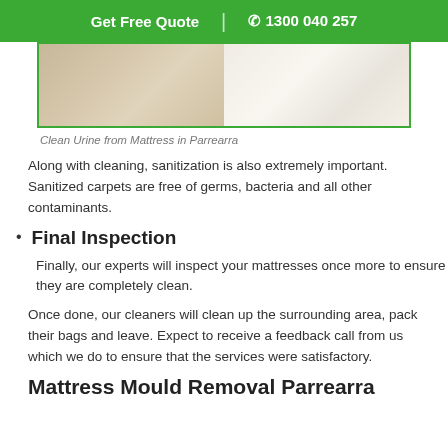Get Free Quote | 1300 040 257
[Figure (photo): Before and after photo of a mattress, showing a stained/yellowed side on the left and a clean white side on the right, with a green border.]
Clean Urine from Mattress in Parrearra
Along with cleaning, sanitization is also extremely important. Sanitized carpets are free of germs, bacteria and all other contaminants.
Final Inspection
Finally, our experts will inspect your mattresses once more to ensure they are completely clean.
Once done, our cleaners will clean up the surrounding area, pack their bags and leave. Expect to receive a feedback call from us which we do to ensure that the services were satisfactory.
Mattress Mould Removal Parrearra